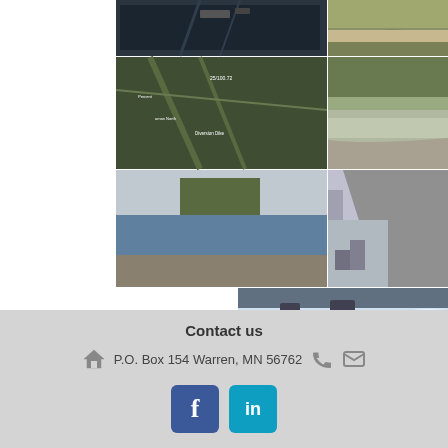[Figure (photo): Aerial/water infrastructure photos arranged in a grid - row 1: dark water/dam aerial view left, dry curved waterway right]
[Figure (photo): Row 2 left: aerial view of drainage channel with annotations; right: flooded field with trees]
[Figure (photo): Row 3 left: pond/wetland with trees; right: concrete water control structure with riprap]
[Figure (photo): Row 4 left: water rushing through outlet structure; right partial: aerial view of farm buildings]
Contact us
P.O. Box 154 Warren, MN 56762